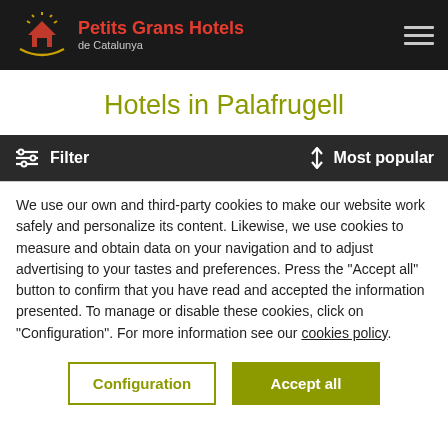Petits Grans Hotels de Catalunya
Hotels in Palafrugell
Filter   Most popular
We use our own and third-party cookies to make our website work safely and personalize its content. Likewise, we use cookies to measure and obtain data on your navigation and to adjust advertising to your tastes and preferences. Press the "Accept all" button to confirm that you have read and accepted the information presented. To manage or disable these cookies, click on "Configuration". For more information see our cookies policy.